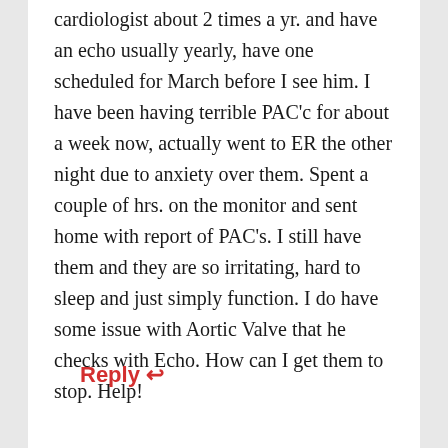cardiologist about 2 times a yr. and have an echo usually yearly, have one scheduled for March before I see him. I have been having terrible PAC'c for about a week now, actually went to ER the other night due to anxiety over them. Spent a couple of hrs. on the monitor and sent home with report of PAC's. I still have them and they are so irritating, hard to sleep and just simply function. I do have some issue with Aortic Valve that he checks with Echo. How can I get them to stop. Help!
Reply ↩